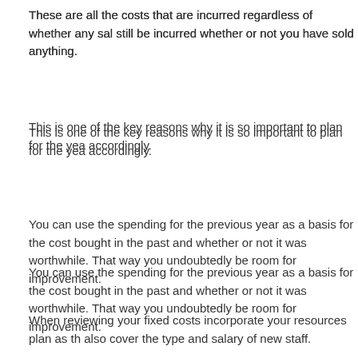These are all the costs that are incurred regardless of whether any sales are made. They will still be incurred whether or not you have sold anything.
This is one of the key reasons why it is so important to plan for the year ahead and budget accordingly.
You can use the spending for the previous year as a basis for the costs, looking at what you bought in the past and whether or not it was worthwhile. That way you can improve and there will undoubtedly be room for improvement.
When reviewing your fixed costs incorporate your resources plan as this should also cover the type and salary of new staff.
This entry was posted in Business Financial Planning, Business Start Up Advice on October 31, 2014.